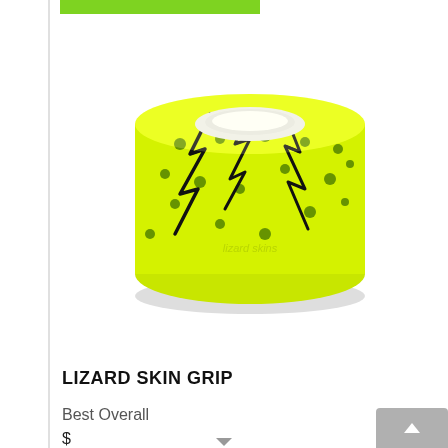[Figure (photo): A roll of Lizard Skin Grip tape in neon yellow/green color with black crackle pattern and dark green dots, rolled up showing the textured surface and logo on the side.]
LIZARD SKIN GRIP
Best Overall
$